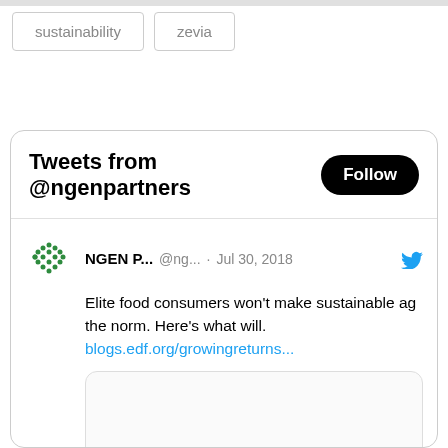sustainability
zevia
Tweets from @ngenpartners
NGEN P... @ng... · Jul 30, 2018 Elite food consumers won't make sustainable ag the norm. Here's what will. blogs.edf.org/growingreturns...
[Figure (screenshot): Embedded tweet card preview with blogs.edf.org link preview]
blogs.edf.org